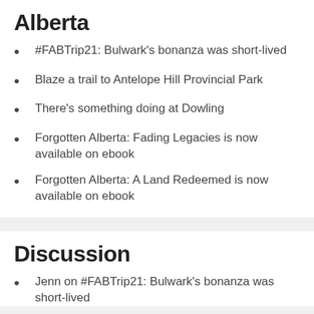Alberta
#FABTrip21: Bulwark's bonanza was short-lived
Blaze a trail to Antelope Hill Provincial Park
There's something doing at Dowling
Forgotten Alberta: Fading Legacies is now available on ebook
Forgotten Alberta: A Land Redeemed is now available on ebook
Discussion
Jenn on #FABTrip21: Bulwark's bonanza was short-lived